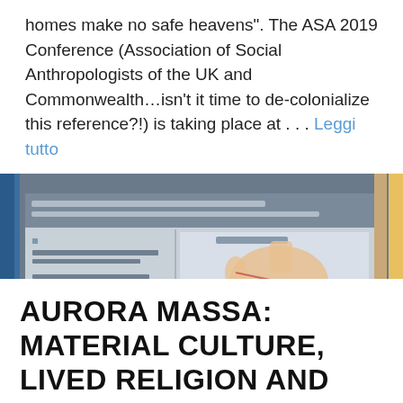homes make no safe heavens". The ASA 2019 Conference (Association of Social Anthropologists of the UK and Commonwealth…isn't it time to de-colonialize this reference?!) is taking place at . . . Leggi tutto
[Figure (photo): A photograph of a conference presentation showing a projected slide with a map of Europe and migration routes, alongside text about the UK and Sweden and migrant communities. The slide discusses dangerous and expensive migratory trajectories unfolding via land and sea.]
AURORA MASSA: MATERIAL CULTURE, LIVED RELIGION AND HOMEMAKING AMONG ERITREAN REFUGEES IN